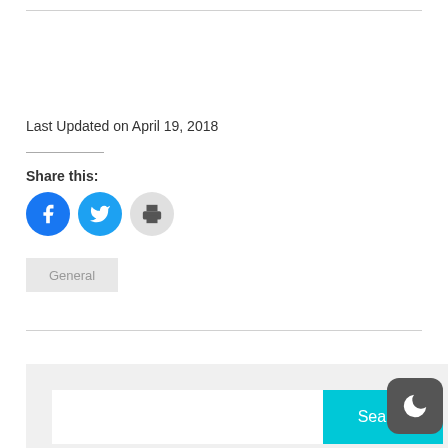Last Updated on April 19, 2018
Share this:
[Figure (illustration): Social share icons: Facebook (blue circle), Twitter (light blue circle), Print (gray circle)]
General
[Figure (screenshot): Search bar with cyan Search button and dark mode toggle icon]